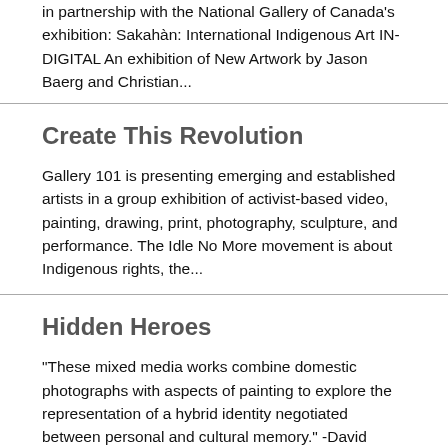in partnership with the National Gallery of Canada's exhibition: Sakahàn: International Indigenous Art IN-DIGITAL An exhibition of New Artwork by Jason Baerg and Christian...
Create This Revolution
Gallery 101 is presenting emerging and established artists in a group exhibition of activist-based video, painting, drawing, print, photography, sculpture, and performance. The Idle No More movement is about Indigenous rights, the...
Hidden Heroes
"These mixed media works combine domestic photographs with aspects of painting to explore the representation of a hybrid identity negotiated between personal and cultural memory." -David Hannan
Airport Space